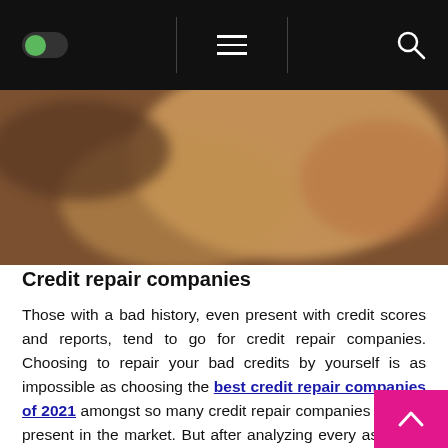Navigation bar with toggle, hamburger menu, and search icon
[Figure (photo): Blurred close-up photo of a hand, warm brown tones, soft focus background]
Credit repair companies
Those with a bad history, even present with credit scores and reports, tend to go for credit repair companies. Choosing to repair your bad credits by yourself is as impossible as choosing the best credit repair companies of 2021 amongst so many credit repair companies already present in the market. But after analyzing every aspect of those companies, many sites feature the best amongst many with pros and